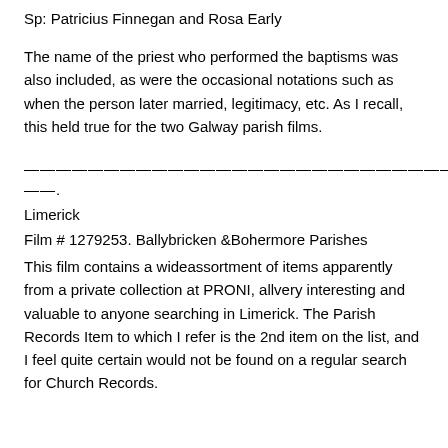Sp: Patricius Finnegan and Rosa Early
The name of the priest who performed the baptisms was also included, as were the occasional notations such as when the person later married, legitimacy, etc. As I recall, this held true for the two Galway parish films.
————————————————————————————.
Limerick
Film # 1279253. Ballybricken &Bohermore Parishes
This film contains a wideassortment of items apparently from a private collection at PRONI, allvery interesting and valuable to anyone searching in Limerick. The Parish Records Item to which I refer is the 2nd item on the list, and I feel quite certain would not be found on a regular search for Church Records.